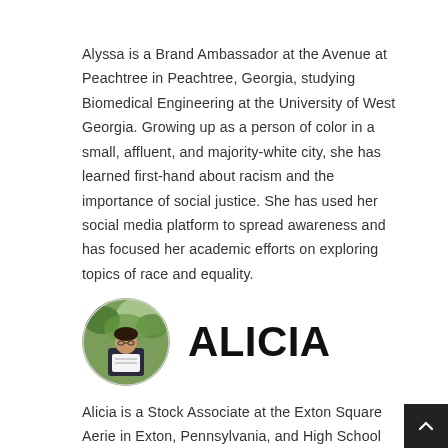Alyssa is a Brand Ambassador at the Avenue at Peachtree in Peachtree, Georgia, studying Biomedical Engineering at the University of West Georgia. Growing up as a person of color in a small, affluent, and majority-white city, she has learned first-hand about racism and the importance of social justice. She has used her social media platform to spread awareness and has focused her academic efforts on exploring topics of race and equality.
[Figure (photo): Circular profile photo of Alicia, a young woman holding a large certificate or check outdoors in a park-like setting with green trees in background]
ALICIA
Alicia is a Stock Associate at the Exton Square Aerie in Exton, Pennsylvania, and High School Senior who would like to pursue Political Science for her Bachelor's Degree. In 2020 she was inspired to help register and encourage